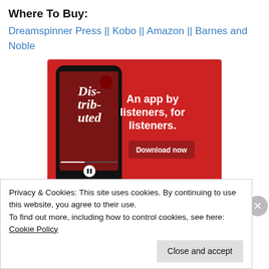Where To Buy:
Dreamspinner Press || Kobo || Amazon || Barnes and Noble
[Figure (screenshot): Advertisement for a podcast app showing a smartphone displaying a podcast called 'Distributed' on a red background, with text 'An app by listeners, for listeners.' and a 'Download now' button.]
Privacy & Cookies: This site uses cookies. By continuing to use this website, you agree to their use.
To find out more, including how to control cookies, see here: Cookie Policy
Close and accept